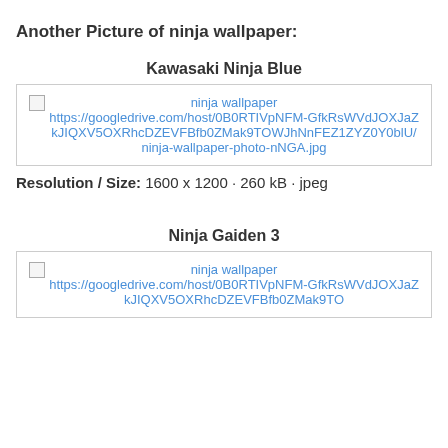Another Picture of ninja wallpaper:
Kawasaki Ninja Blue
[Figure (photo): Broken image placeholder linking to ninja wallpaper photo on Google Drive: https://googledrive.com/host/0B0RTIVpNFM-GfkRsWVdJOXJaZkJIQXV5OXRhcDZEVFBfb0ZMak9TOWJhNnFEZ1ZYZ0Y0blU/ninja-wallpaper-photo-nNGA.jpg]
Resolution / Size: 1600 x 1200 · 260 kB · jpeg
Ninja Gaiden 3
[Figure (photo): Broken image placeholder linking to ninja wallpaper photo on Google Drive: https://googledrive.com/host/0B0RTIVpNFM-GfkRsWVdJOXJaZkJIQXV5OXRhcDZEVFBfb0ZMak9TO...]